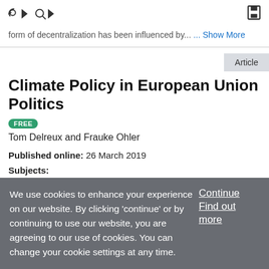toolbar with navigation and search icons
form of decentralization has been influenced by... ... Show More
Article
Climate Policy in European Union Politics
FREE
Tom Delreux and Frauke Ohler
Published online: 26 March 2019
Subjects:
Governance/Political Change, Policy, Administration, and
We use cookies to enhance your experience on our website. By clicking 'continue' or by continuing to use our website, you are agreeing to our use of cookies. You can change your cookie settings at any time.
Continue
Find out more